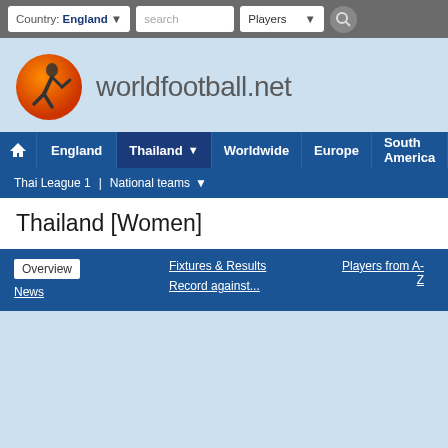Country: England | search | Players
[Figure (logo): worldfootball.net logo with orange soccer player icon]
Home | England | Thailand | Worldwide | Europe | South America | A...
Thai League 1 | National teams
Thailand [Women]
Overview | Fixtures & Results | Players from A-Z | News | Record against...